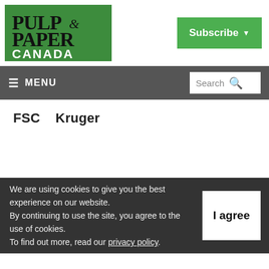[Figure (logo): Pulp & Paper Canada magazine logo on green background]
Subscribe ▾
≡ MENU
Search
FSC   Kruger
We are using cookies to give you the best experience on our website. By continuing to use the site, you agree to the use of cookies. To find out more, read our privacy policy.
I agree